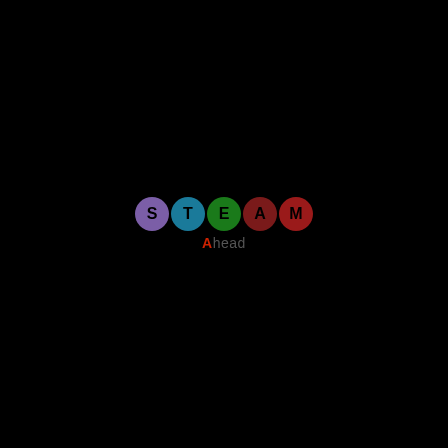[Figure (logo): STEAM Ahead logo: five colored circles each containing a letter (S in purple, T in teal/blue, E in green, A in dark red, M in red) arranged in a row, with the text 'Ahead' below (A in red, 'head' in dark grey), all on a black background]